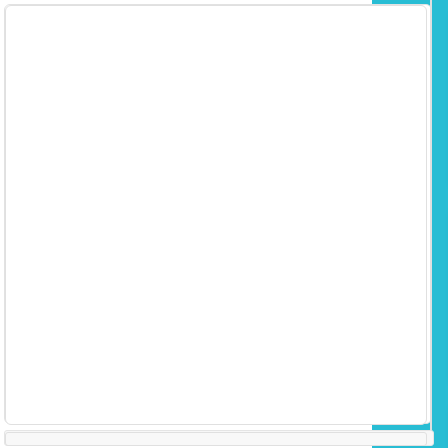[Figure (screenshot): Game app store listing page showing a left empty white panel with a thin border, a right teal/cyan colored sidebar, and a center scrollable column with four game thumbnail images: (1) a car crash/racing game showing a red car collision with sparks, (2) a colorful fish/ocean game showing a smiling cartoon orange fish in a submarine porthole, (3) a pixel-art action game showing a green-haired goblin-like character running with 'Clash' logo, (4) an adventure/RPG game showing a green-cloaked female archer character in a dungeon setting.]